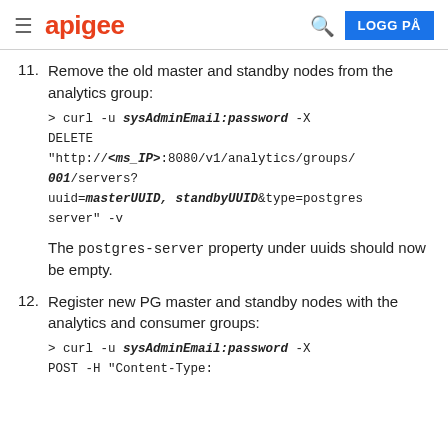apigee | LOGG PÅ
11. Remove the old master and standby nodes from the analytics group:
> curl -u sysAdminEmail:password -X DELETE "http://<ms_IP>:8080/v1/analytics/groups/001/servers?uuid=masterUUID,standbyUUID&type=postgres-server" -v

The postgres-server property under uuids should now be empty.
12. Register new PG master and standby nodes with the analytics and consumer groups:
> curl -u sysAdminEmail:password -X POST -H "Content-Type: